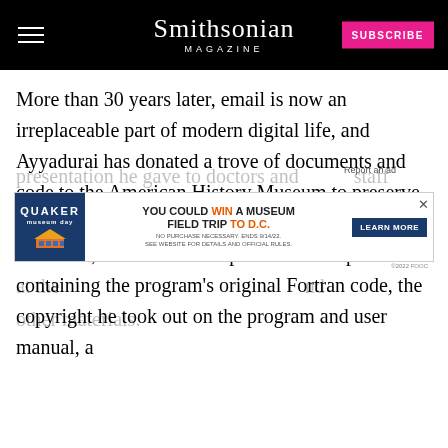Smithsonian Magazine | SUBSCRIBE
More than 30 years later, email is now an irreplaceable part of modern digital life, and Ayyadurai has donated a trove of documents and code to the American History Museum to preserve his place in history. The donation, which occurred last week, included both a printout and tapes containing the program’s original Fortran code, the copyright he took out on the program and user manual, a presentation he gave to doctors and staff at the … and other materials.